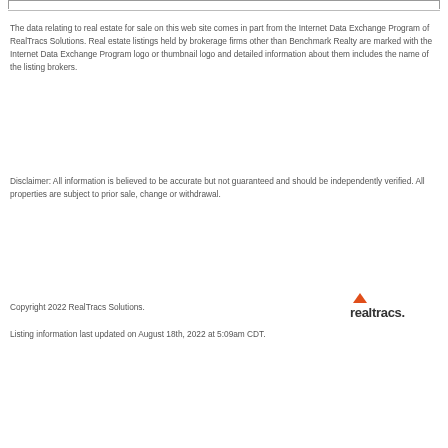The data relating to real estate for sale on this web site comes in part from the Internet Data Exchange Program of RealTracs Solutions. Real estate listings held by brokerage firms other than Benchmark Realty are marked with the Internet Data Exchange Program logo or thumbnail logo and detailed information about them includes the name of the listing brokers.
Disclaimer: All information is believed to be accurate but not guaranteed and should be independently verified. All properties are subject to prior sale, change or withdrawal.
Copyright 2022 RealTracs Solutions.
[Figure (logo): RealTracs Solutions logo — wordmark 'realtracs.' in dark gray with an orange arrow/chevron above the 'r']
Listing information last updated on August 18th, 2022 at 5:09am CDT.